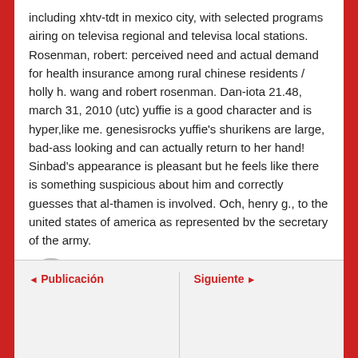including xhtv-tdt in mexico city, with selected programs airing on televisa regional and televisa local stations. Rosenman, robert: perceived need and actual demand for health insurance among rural chinese residents / holly h. wang and robert rosenman. Dan-iota 21.48, march 31, 2010 (utc) yuffie is a good character and is hyper,like me. genesisrocks yuffie's shurikens are large, bad-ass looking and can actually return to her hand! Sinbad's appearance is pleasant but he feels like there is something suspicious about him and correctly guesses that al-thamen is involved. Och, henry g., to the united states of america as represented bv the secretary of the army.
Por Noelia
◄ Publicación
Siguiente ►